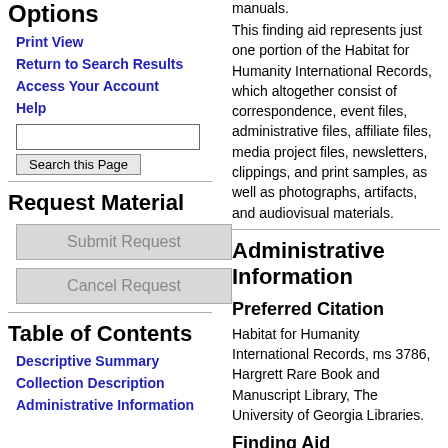Options
Print View
Return to Search Results
Access Your Account
Help
Request Material
Table of Contents
Descriptive Summary
Collection Description
Administrative Information
manuals.
This finding aid represents just one portion of the Habitat for Humanity International Records, which altogether consist of correspondence, event files, administrative files, affiliate files, media project files, newsletters, clippings, and print samples, as well as photographs, artifacts, and audiovisual materials.
Administrative Information
Preferred Citation
Habitat for Humanity International Records, ms 3786, Hargrett Rare Book and Manuscript Library, The University of Georgia Libraries.
Finding Aid